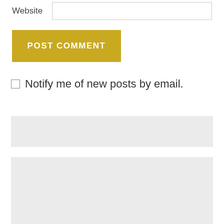Website
[Figure (other): POST COMMENT button, gold/yellow background with white bold uppercase text]
Notify me of new posts by email.
[Figure (other): Gray background block (advertisement or widget area)]
[Figure (other): Search widget with text input box showing placeholder SEARCH ... and a search icon]